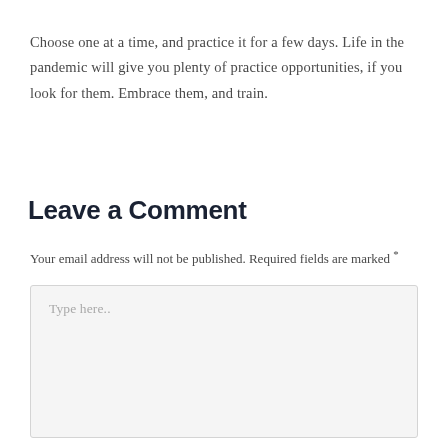Choose one at a time, and practice it for a few days. Life in the pandemic will give you plenty of practice opportunities, if you look for them. Embrace them, and train.
Leave a Comment
Your email address will not be published. Required fields are marked *
Type here..